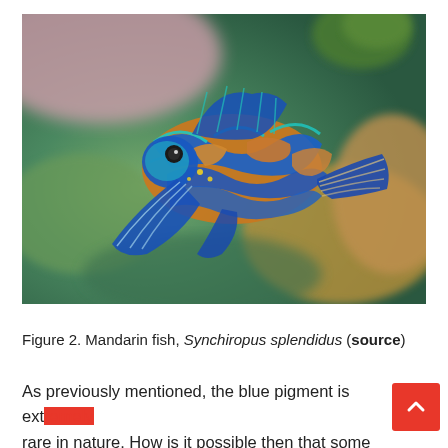[Figure (photo): A colorful Mandarin fish (Synchiropus splendidus) swimming in an aquarium setting. The fish displays vivid blue, orange, and green patterns with elaborate fins against a blurred background of coral and aquatic plants.]
Figure 2. Mandarin fish, Synchiropus splendidus (source)
As previously mentioned, the blue pigment is extremely rare in nature. How is it possible then that some animals have blue or grey eyes? As for the peacock's feathers or